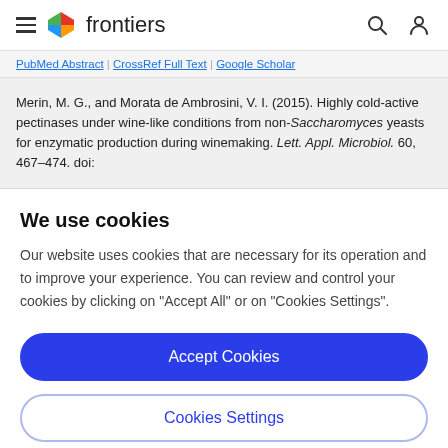frontiers
PubMed Abstract | CrossRef Full Text | Google Scholar
Merin, M. G., and Morata de Ambrosini, V. I. (2015). Highly cold-active pectinases under wine-like conditions from non-Saccharomyces yeasts for enzymatic production during winemaking. Lett. Appl. Microbiol. 60, 467–474. doi:
We use cookies
Our website uses cookies that are necessary for its operation and to improve your experience. You can review and control your cookies by clicking on "Accept All" or on "Cookies Settings".
Accept Cookies
Cookies Settings